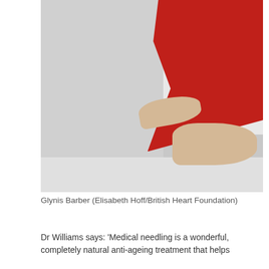[Figure (photo): Photo of Glynis Barber from the lower torso down, wearing a flowing red dress and nude pointed-toe heels, against a light grey background and white wall corner.]
Glynis Barber (Elisabeth Hoff/British Heart Foundation)
Dr Williams says: 'Medical needling is a wonderful, completely natural anti-ageing treatment that helps